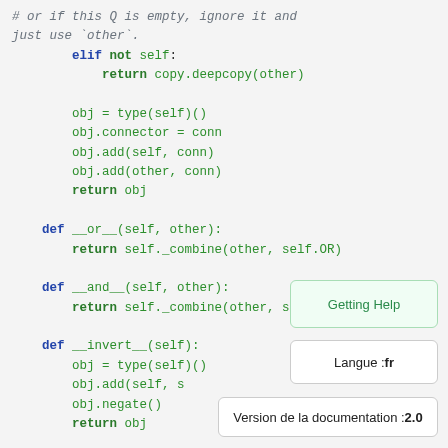# or if this Q is empty, ignore it and just use `other`.
        elif not self:
            return copy.deepcopy(other)

        obj = type(self)()
        obj.connector = conn
        obj.add(self, conn)
        obj.add(other, conn)
        return obj

    def __or__(self, other):
        return self._combine(other, self.OR)

    def __and__(self, other):
        return self._combine(other, se...

    def __invert__(self):
        obj = type(self)()
        obj.add(self, s...
        obj.negate()
        return obj
Getting Help
Langue : fr
Version de la documentation : 2.0